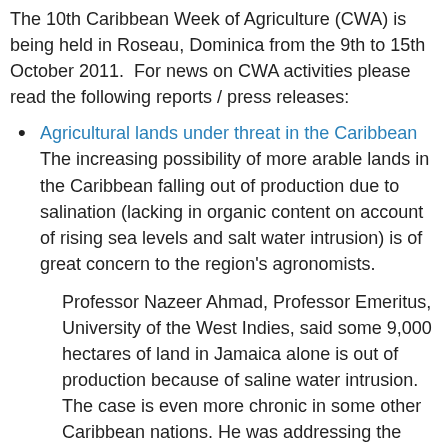The 10th Caribbean Week of Agriculture (CWA) is being held in Roseau, Dominica from the 9th to 15th October 2011.  For news on CWA activities please read the following reports / press releases:
Agricultural lands under threat in the Caribbean The increasing possibility of more arable lands in the Caribbean falling out of production due to salination (lacking in organic content on account of rising sea levels and salt water intrusion) is of great concern to the region's agronomists.
Professor Nazeer Ahmad, Professor Emeritus, University of the West Indies, said some 9,000 hectares of land in Jamaica alone is out of production because of saline water intrusion. The case is even more chronic in some other Caribbean nations. He was addressing the topic of “Soil water management system for a drier Caribbean” at a Climate Change Adaptation in Caribbean Agriculture workshop hosted by the Caribbean Agricultural Research